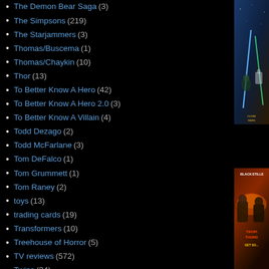The Demon Bear Saga (3)
The Simpsons (219)
The Starjammers (3)
Thomas/Buscema (1)
Thomas/Chaykin (10)
Thor (13)
To Better Know A Hero (42)
To Better Know A Hero 2.0 (3)
To Better Know A Villain (4)
Todd Dezago (2)
Todd McFarlane (3)
Tom DeFalco (1)
Tom Grummett (1)
Tom Raney (2)
toys (13)
trading cards (19)
Transformers (10)
Treehouse of Horror (5)
TV reviews (572)
Twins (34)
Uncanny X-Men (253)
Unstacking the Deck (18)
Video Games (9)
[Figure (photo): Star Wars: The Clone Wars movie poster — Yoda and clone troopers with lightsabers, sci-fi battle scene]
[Figure (photo): Tropic Thunder movie poster — Jack Black and Ben Stiller action comedy, 'GET SO...' tagline visible]